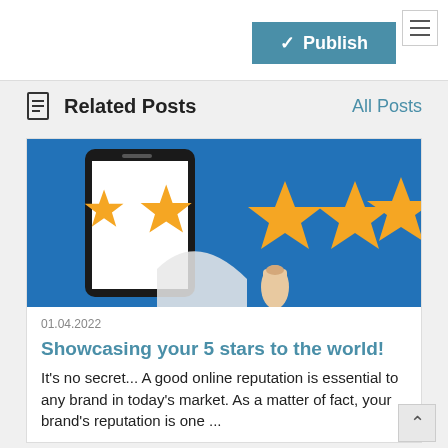[Figure (screenshot): Publish button with checkmark on teal/blue background, and hamburger menu icon in top-right corner]
Related Posts
All Posts
[Figure (illustration): Blue background illustration showing a smartphone with five gold stars and a hand pointer finger tapping the third star — a 5-star rating concept image]
01.04.2022
Showcasing your 5 stars to the world!
It's no secret... A good online reputation is essential to any brand in today's market. As a matter of fact, your brand's reputation is one ...